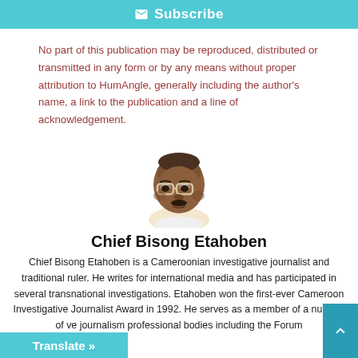Subscribe
No part of this publication may be reproduced, distributed or transmitted in any form or by any means without proper attribution to HumAngle, generally including the author's name, a link to the publication and a line of acknowledgement.
[Figure (illustration): Illustrated portrait of Chief Bisong Etahoben, a man with glasses shown from the shoulders up in a cartoon/illustration style]
Chief Bisong Etahoben
Chief Bisong Etahoben is a Cameroonian investigative journalist and traditional ruler. He writes for international media and has participated in several transnational investigations. Etahoben won the first-ever Cameroon Investigative Journalist Award in 1992. He serves as a member of a number of ve journalism professional bodies including the Forum